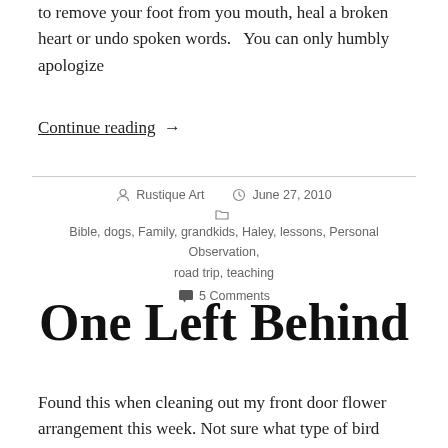to remove your foot from you mouth, heal a broken heart or undo spoken words.   You can only humbly apologize
Continue reading  →
Author: Rustique Art  Date: June 27, 2010  Categories: Bible, dogs, Family, grandkids, Haley, lessons, Personal Observation, road trip, teaching  5 Comments
One Left Behind
Found this when cleaning out my front door flower arrangement this week. Not sure what type of bird builds her